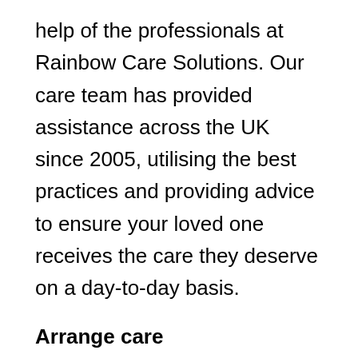help of the professionals at Rainbow Care Solutions. Our care team has provided assistance across the UK since 2005, utilising the best practices and providing advice to ensure your loved one receives the care they deserve on a day-to-day basis.
Arrange care
At Rainbow care solutions we understand getting a diagnosis of any form of dementia can be daunting, and having care at home can be a huge step. Our broad range of services can support you to remain at home